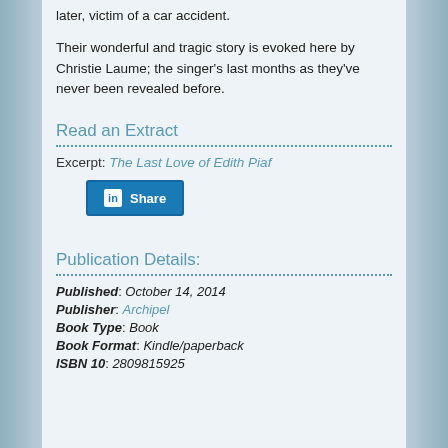later, victim of a car accident.
Their wonderful and tragic story is evoked here by Christie Laume; the singer’s last months as they’ve never been revealed before.
Read an Extract
Excerpt: The Last Love of Edith Piaf
[Figure (other): LinkedIn Share button]
Publication Details:
Published: October 14, 2014
Publisher: Archipel
Book Type: Book
Book Format: Kindle/paperback
ISBN 10: 2809815925